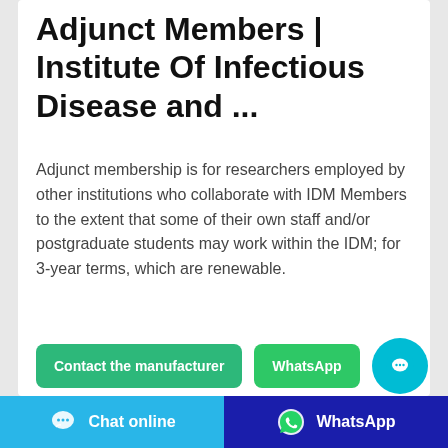Adjunct Members | Institute Of Infectious Disease and ...
Adjunct membership is for researchers employed by other institutions who collaborate with IDM Members to the extent that some of their own staff and/or postgraduate students may work within the IDM; for 3-year terms, which are renewable.
[Figure (screenshot): Contact the manufacturer button (green) and WhatsApp button (green) with a cyan chat bubble floating action button]
[Figure (screenshot): Bottom navigation bar with Chat online button (cyan) on left and WhatsApp button (dark blue) on right]